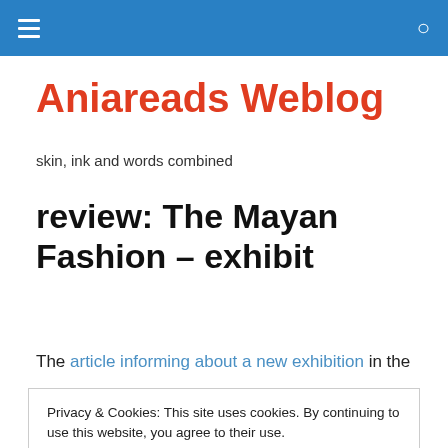Navigation bar with menu icon and search icon
Aniareads Weblog
skin, ink and words combined
review: The Mayan Fashion – exhibit
The article informing about a new exhibition in the
Privacy & Cookies: This site uses cookies. By continuing to use this website, you agree to their use.
To find out more, including how to control cookies, see here: Cookie Policy
Close and accept